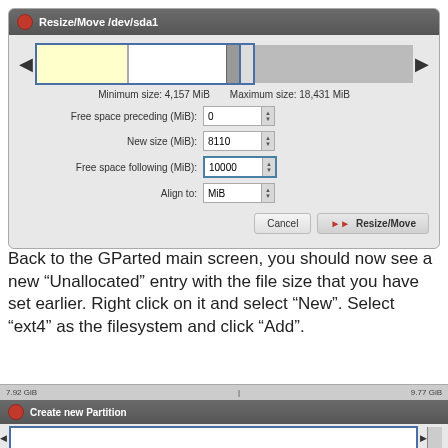[Figure (screenshot): GParted Resize/Move /dev/sda1 dialog showing partition bar, size fields: Free space preceding 0 MiB, New size 8110 MiB, Free space following 10000 MiB, Align to MiB, with Cancel and Resize/Move buttons. Minimum size: 4,157 MiB, Maximum size: 18,431 MiB.]
Back to the GParted main screen, you should now see a new “Unallocated” entry with the file size that you have set earlier. Right click on it and select “New”. Select “ext4” as the filesystem and click “Add”.
[Figure (screenshot): Partial view of GParted Create new Partition dialog, showing top bar with partition sizes 7.92 GiB and 9.77 GiB, and an empty partition bar.]